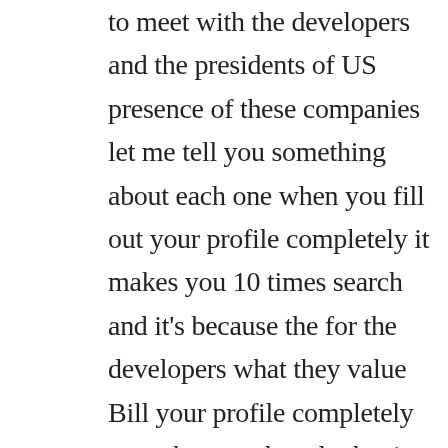to meet with the developers and the presidents of US presence of these companies let me tell you something about each one when you fill out your profile completely it makes you 10 times search and it's because the for the developers what they value Bill your profile completely so make sure they do that it really go have friends look at your profile before you would sit down and make sure they look for errors and stuff like that. Sometimes just tell you fresh basic things will help you develop your profile this is I'm going over this quickly to meet you me do this for all of your websites use be diligent in connecting with people especially to our I would sit